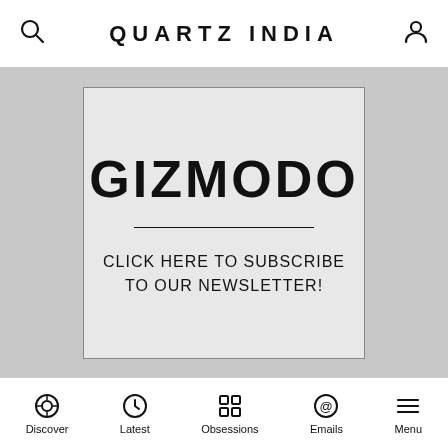QUARTZ INDIA
[Figure (other): Gizmodo newsletter subscription advertisement banner with text: GIZMODO / CLICK HERE TO SUBSCRIBE TO OUR NEWSLETTER!]
Paddy straw has various uses, including as fodder for cattle, compost, and making pulp for paper. While Davidsson did not share details on what the retailer plans to produce out of the straw, she said some
Discover | Latest | Obsessions | Emails | Menu